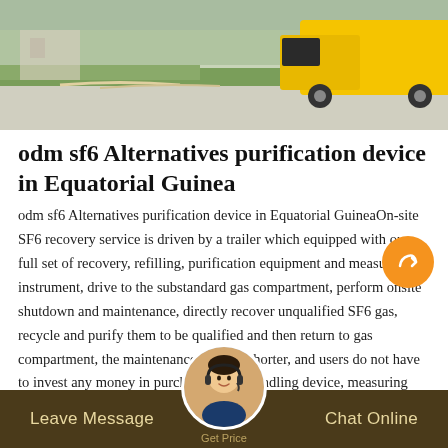[Figure (photo): Outdoor scene with a yellow truck/tanker vehicle on a road with grass and pavement visible]
odm sf6 Alternatives purification device in Equatorial Guinea
odm sf6 Alternatives purification device in Equatorial GuineaOn-site SF6 recovery service is driven by a trailer which equipped with our full set of recovery, refilling, purification equipment and measuring instrument, drive to the substandard gas compartment, perform onsite shutdown and maintenance, directly recover unqualified SF6 gas, recycle and purify them to be qualified and then return to gas compartment, the maintenance cycle is shorter, and users do not have to invest any money in purchasing SF6 handling device, measuring instruments and
Leave Message   Get Price   Chat Online